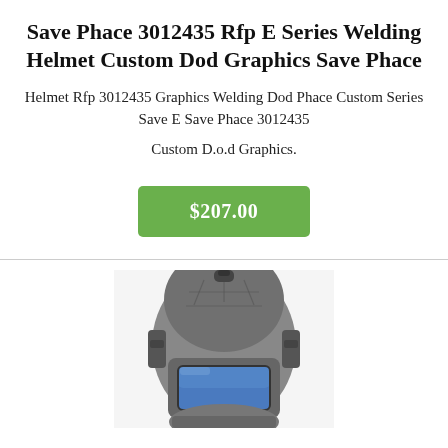Save Phace 3012435 Rfp E Series Welding Helmet Custom Dod Graphics Save Phace
Helmet Rfp 3012435 Graphics Welding Dod Phace Custom Series Save E Save Phace 3012435
Custom D.o.d Graphics.
$207.00
[Figure (photo): A welding helmet (Save Phace brand) shown from the front, with a dark body, hexagonal pattern, and a blue-tinted auto-darkening lens window in the lower center.]